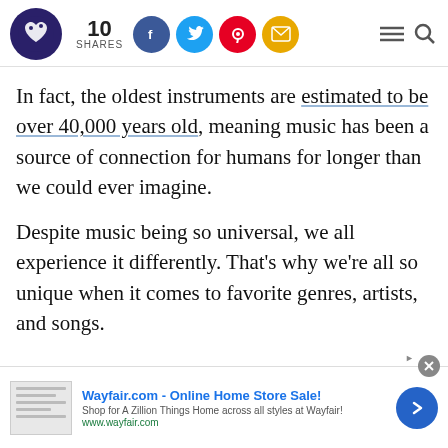10 SHARES | Social share icons | Navigation menu and search
In fact, the oldest instruments are estimated to be over 40,000 years old, meaning music has been a source of connection for humans for longer than we could ever imagine.
Despite music being so universal, we all experience it differently. That’s why we’re all so unique when it comes to favorite genres, artists, and songs.
[Figure (other): Wayfair.com advertisement banner: 'Wayfair.com - Online Home Store Sale! Shop for A Zillion Things Home across all styles at Wayfair! www.wayfair.com' with thumbnail image, blue arrow button, and close button.]